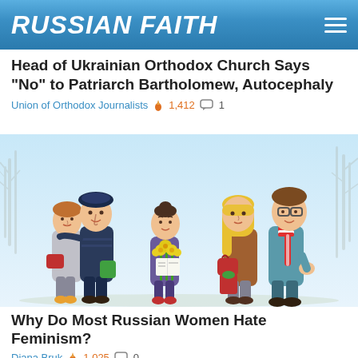RUSSIAN FAITH
Head of Ukrainian Orthodox Church Says "No" to Patriarch Bartholomew, Autocephaly
Union of Orthodox Journalists 🔥 1,412 💬 1
[Figure (illustration): Cartoon illustration showing several stylized characters: a couple on the left with a man holding a woman, a woman in the center holding yellow flowers, and a couple on the right with a blonde woman and a man in a striped scarf, set against a light blue background with bare winter trees.]
Why Do Most Russian Women Hate Feminism?
Diana Bruk 🔥 1,025 💬 0